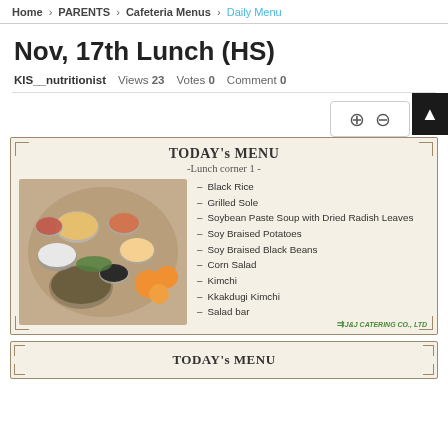Home > PARENTS > Cafeteria Menus > Daily Menu
Nov, 17th Lunch (HS)
KIS__nutritionist   Views 23   Votes 0   Comment 0
[Figure (photo): TODAY's MENU card showing -Lunch corner 1- with a photo of Korean lunch dishes on the left and a menu list on the right. Menu items: Black Rice, Grilled Sole, Soybean Paste Soup with Dried Radish Leaves, Soy Braised Potatoes, Soy Braised Black Beans, Corn Salad, Kimchi, Kkakdugi Kimchi, Salad bar. Decorated border with J&J Catering Co. Ltd logo.]
[Figure (photo): Second TODAY's MENU card partially visible at bottom, showing only the title.]